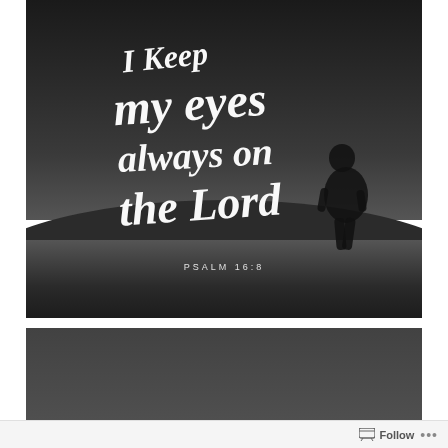[Figure (photo): Black and white photo of a person standing on a hill at dusk, with handwritten-style white text overlay reading 'I Keep my eyes always on the Lord' and a scripture reference 'PSALM 16:8' below.]
[Figure (photo): Dark gray/charcoal colored background image, lower portion of a second similar faith-themed image card, partially visible.]
Follow ...